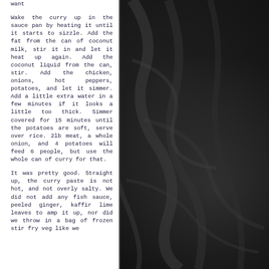want
Wake the curry up in the sauce pan by heating it until it starts to sizzle. Add the fat from the can of coconut milk, stir it in and let it heat up again. Add the coconut liquid from the can, stir. Add the chicken, onions, hot peppers, potatoes, and let it simmer. Add a little extra water in a few minutes if it looks a little too thick. Simmer covered for 15 minutes until the potatoes are soft, serve over rice. 2lb meat, a whole onion, and 4 potatoes will feed 6 people, but use the whole can of curry for that.
It was pretty good. Straight up, the curry paste is not hot, and not overly salty. We did not add any fish sauce, peeled ginger, kaffir lime leaves to amp it up, nor did we throw in a bag of frozen stir fry veg like we
[Figure (photo): Dark black silky fabric texture filling the right side and background of the page]